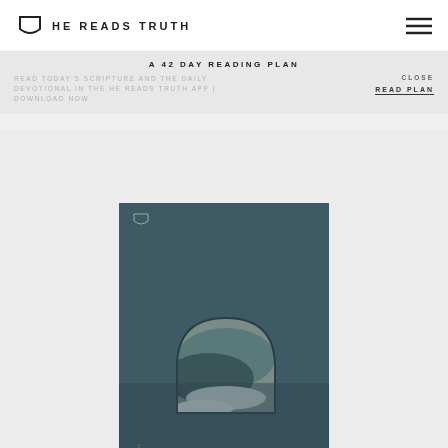HE READS TRUTH
A 42 DAY READING PLAN
READ TODAY'S SCRIPTURE AND THE DAILY DEVOTIONAL IN THE HE READS TRUTH APP | DOWNLOAD NOW
READ PLAN
CLOSE
[Figure (photo): He Reads Truth book cover with teal/dark blue background and an arched window image showing ocean waves]